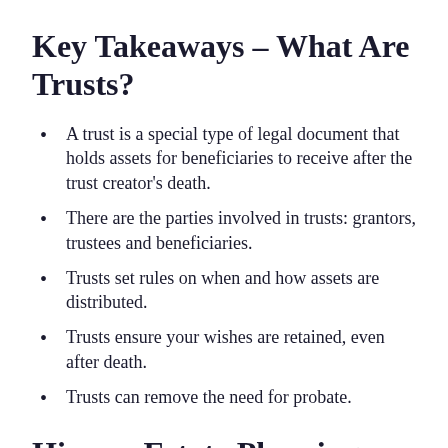Key Takeaways – What Are Trusts?
A trust is a special type of legal document that holds assets for beneficiaries to receive after the trust creator's death.
There are the parties involved in trusts: grantors, trustees and beneficiaries.
Trusts set rules on when and how assets are distributed.
Trusts ensure your wishes are retained, even after death.
Trusts can remove the need for probate.
Hire an Estate Planning Attorney for Trusts in St